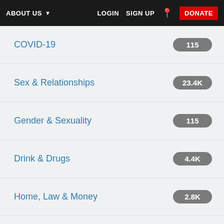ABOUT US  LOGIN  SIGN UP  DONATE
COVID-19  115
Sex & Relationships  23.4K
Gender & Sexuality  115
Drink & Drugs  4.4K
Home, Law & Money  2.8K
Care Experienced Zone  24
Work & Volunteering  2.9K
Student Life & Education  3.5K
Group Chat Announcements  2.3K
Anything Goes  40.5K
Politics & Debate  9.3K